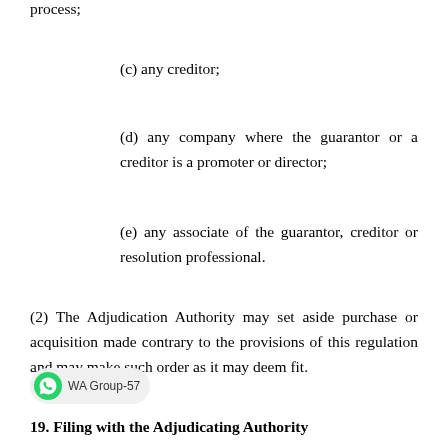process;
(c) any creditor;
(d) any company where the guarantor or a creditor is a promoter or director;
(e) any associate of the guarantor, creditor or resolution professional.
(2) The Adjudication Authority may set aside purchase or acquisition made contrary to the provisions of this regulation and may make such order as it may deem fit.
19. Filing with the Adjudicating Authority